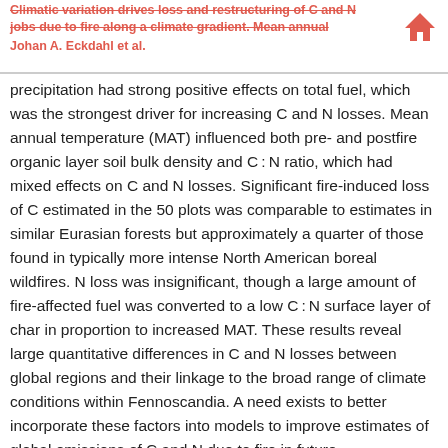Climatic variation drives loss and restructuring of C and N jobs due to fire along a climate gradient. Mean annual
Johan A. Eckdahl et al.
precipitation had strong positive effects on total fuel, which was the strongest driver for increasing C and N losses. Mean annual temperature (MAT) influenced both pre- and postfire organic layer soil bulk density and C : N ratio, which had mixed effects on C and N losses. Significant fire-induced loss of C estimated in the 50 plots was comparable to estimates in similar Eurasian forests but approximately a quarter of those found in typically more intense North American boreal wildfires. N loss was insignificant, though a large amount of fire-affected fuel was converted to a low C : N surface layer of char in proportion to increased MAT. These results reveal large quantitative differences in C and N losses between global regions and their linkage to the broad range of climate conditions within Fennoscandia. A need exists to better incorporate these factors into models to improve estimates of global emissions of C and N due to fire in future